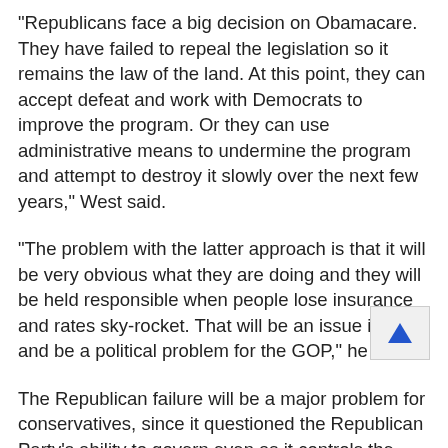"Republicans face a big decision on Obamacare. They have failed to repeal the legislation so it remains the law of the land. At this point, they can accept defeat and work with Democrats to improve the program. Or they can use administrative means to undermine the program and attempt to destroy it slowly over the next few years," West said.
"The problem with the latter approach is that it will be very obvious what they are doing and they will be held responsible when people lose insurance and rates sky-rocket. That will be an issue in 2018 and be a political problem for the GOP," he added.
The Republican failure will be a major problem for conservatives, since it questioned the Republican Party's ability to govern even as it controls the White House, Senate and House of Representatives.
[Figure (other): Scroll-to-top button with upward-pointing blue triangle arrow]